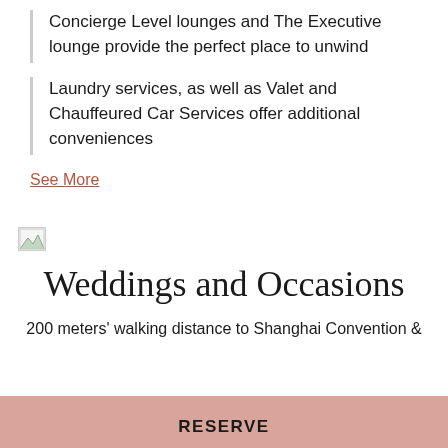Concierge Level lounges and The Executive lounge provide the perfect place to unwind
Laundry services, as well as Valet and Chauffeured Car Services offer additional conveniences
See More
[Figure (photo): Broken/unloaded image placeholder icon]
Weddings and Occasions
200 meters' walking distance to Shanghai Convention &
RESERVE